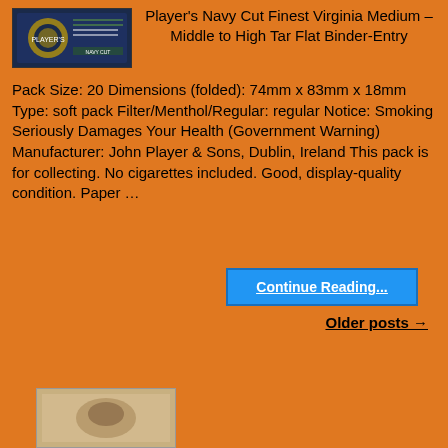[Figure (photo): Cigarette pack image - Player's Navy Cut, dark navy blue pack with logo]
Player's Navy Cut Finest Virginia Medium – Middle to High Tar Flat Binder-Entry Pack Size: 20 Dimensions (folded): 74mm x 83mm x 18mm Type: soft pack Filter/Menthol/Regular: regular Notice: Smoking Seriously Damages Your Health (Government Warning) Manufacturer: John Player & Sons, Dublin, Ireland This pack is for collecting. No cigarettes included. Good, display-quality condition. Paper …
Continue Reading...
Older posts →
[Figure (photo): Vintage photograph, sepia/brown toned image at bottom of page]